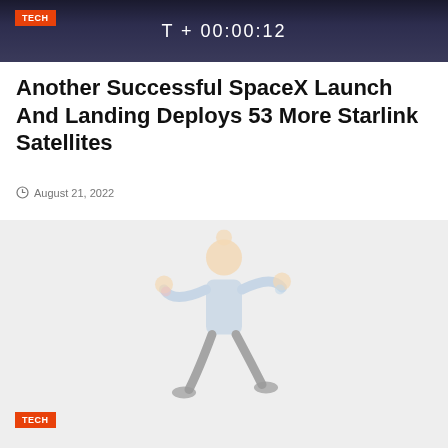[Figure (photo): Dark background launch countdown screen showing 'T+00:00:12' timer with a TECH badge in the upper left corner]
Another Successful SpaceX Launch And Landing Deploys 53 More Starlink Satellites
August 21, 2022
[Figure (illustration): Light gray placeholder image with a faint juggling figure illustration and a TECH badge in the lower left corner]